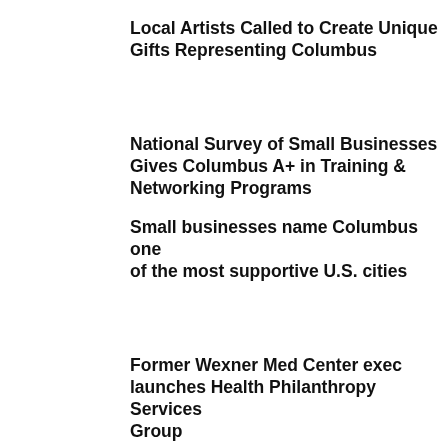Local Artists Called to Create Unique Gifts Representing Columbus
National Survey of Small Businesses Gives Columbus A+ in Training & Networking Programs
Small businesses name Columbus one of the most supportive U.S. cities
Former Wexner Med Center exec launches Health Philanthropy Services Group
The Hills Market opening downtown store